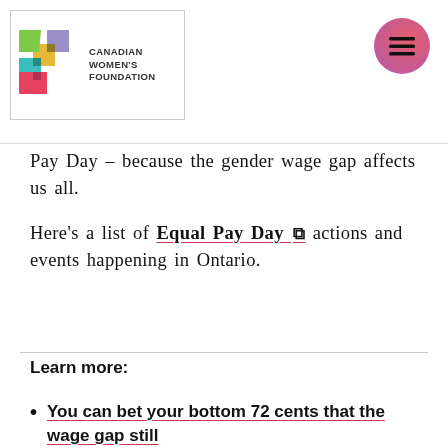[Figure (logo): Canadian Women's Foundation logo with colorful geometric shapes and organization name]
Pay Day – because the gender wage gap affects us all.
Here's a list of Equal Pay Day actions and events happening in Ontario.
Learn more:
You can bet your bottom 72 cents that the wage gap still